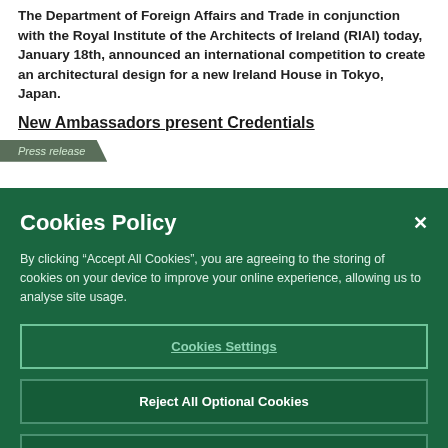The Department of Foreign Affairs and Trade in conjunction with the Royal Institute of the Architects of Ireland (RIAI) today, January 18th, announced an international competition to create an architectural design for a new Ireland House in Tokyo, Japan.
New Ambassadors present Credentials
Press release
Cookies Policy
By clicking “Accept All Cookies”, you are agreeing to the storing of cookies on your device to improve your online experience, allowing us to analyse site usage.
Cookies Settings
Reject All Optional Cookies
Accept All Cookies